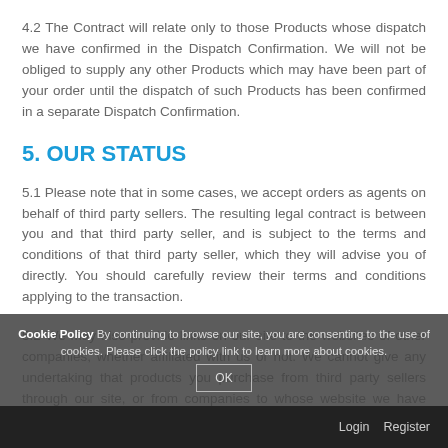4.2 The Contract will relate only to those Products whose dispatch we have confirmed in the Dispatch Confirmation. We will not be obliged to supply any other Products which may have been part of your order until the dispatch of such Products has been confirmed in a separate Dispatch Confirmation.
5. OUR STATUS
5.1 Please note that in some cases, we accept orders as agents on behalf of third party sellers. The resulting legal contract is between you and that third party seller, and is subject to the terms and conditions of that third party seller, which they will advise you of directly. You should carefully review their terms and conditions applying to the transaction.
5.2 We may also provide links on our site to the websites of other companies, whether affiliated with us or not. We cannot give any undertaking that products you purchase from third party sellers through our site, or from companies to whose website we have provided a link on our site, will be of
Cookie Policy By continuing to browse our site, you are consenting to the use of cookies. Please click the policy link to learn more about cookies. OK
Login   Register